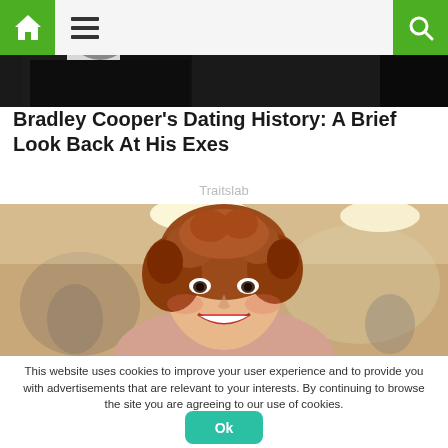Traitslab
[Figure (photo): Two people in formal attire, partially visible from chest up, dark background]
Bradley Cooper's Dating History: A Brief Look Back At His Exes
Traitslab
[Figure (photo): Young woman with curly red hair smiling, indoor background]
This website uses cookies to improve your user experience and to provide you with advertisements that are relevant to your interests. By continuing to browse the site you are agreeing to our use of cookies.